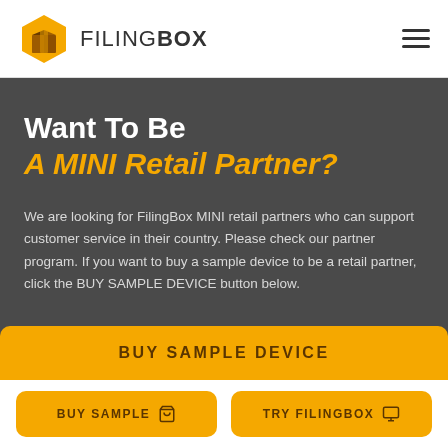[Figure (logo): FilingBox logo with hexagonal box icon and text FILINGBOX]
Want To Be
A MINI Retail Partner?
We are looking for FilingBox MINI retail partners who can support customer service in their country. Please check our partner program. If you want to buy a sample device to be a retail partner, click the BUY SAMPLE DEVICE button below.
BUY SAMPLE DEVICE
BUY SAMPLE  TRY FILINGBOX